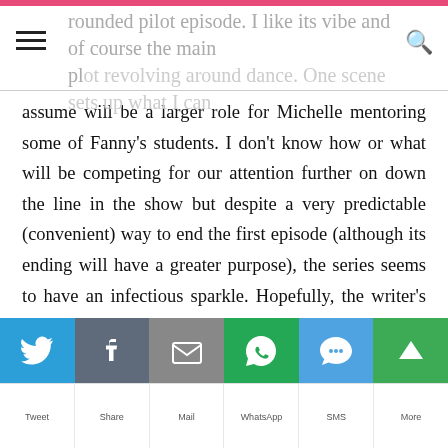rounded pilot episode. I like its vibe and of course the main plot revolving around dance. One scene sets up what I can
assume will be a larger role for Michelle mentoring some of Fanny's students. I don't know how or what will be competing for our attention further on down the line in the show but despite a very predictable (convenient) way to end the first episode (although its ending will have a greater purpose), the series seems to have an infectious sparkle. Hopefully, the writer's won't abuse their attentions and instead teach the young minds they will captivate that no matter your shape or talent level, hard work does pay off. Flaws or no, Bunheads was a terrific start to an adorable new series. I am rooting for its success.
(Disclosure: this post does contain affiliate links; if you buy
[Figure (infographic): Social sharing bar with Twitter (blue), Facebook (grey), Email (grey), WhatsApp (green), SMS (blue), and More (green) buttons with white icons]